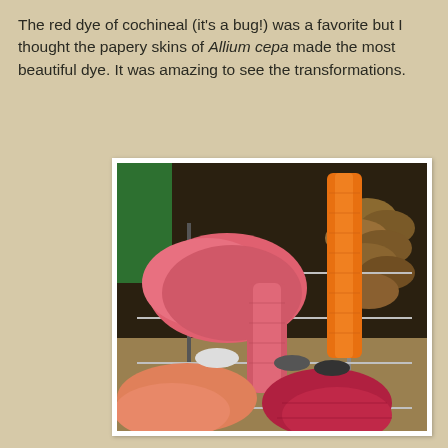The red dye of cochineal (it's a bug!) was a favorite but I thought the papery skins of Allium cepa made the most beautiful dye. It was amazing to see the transformations.
[Figure (photo): Photograph of brightly dyed yarn skeins in shades of orange, salmon/pink, and deep red/crimson hanging and draped over a drying rack outdoors, with stacked firewood visible in the background.]